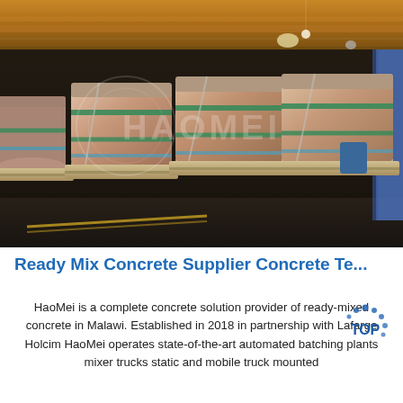[Figure (photo): Industrial warehouse interior showing large cylindrical containers/drums wrapped in protective material on wooden pallets. The containers are arranged in a row. The warehouse has orange/brown ceiling beams and dark floors. A watermark reading 'HAOMEI' is overlaid on the image. Blue curtain visible on right side.]
Ready Mix Concrete Supplier Concrete Te...
HaoMei is a complete concrete solution provider of ready-mixed concrete in Malawi. Established in 2018 in partnership with Lafarge Holcim HaoMei operates state-of-the-art automated batching plants mixer trucks static and mobile truck mounted